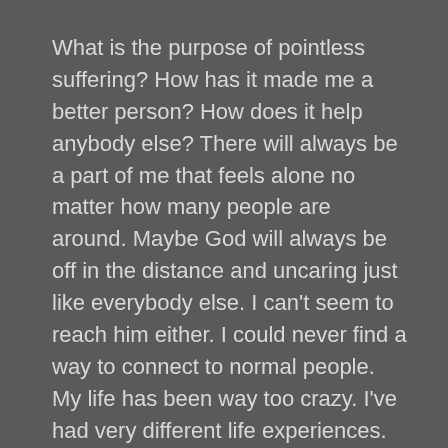What is the purpose of pointless suffering? How has it made me a better person? How does it help anybody else? There will always be a part of me that feels alone no matter how many people are around. Maybe God will always be off in the distance and uncaring just like everybody else. I can't seem to reach him either. I could never find a way to connect to normal people. My life has been way too crazy. I've had very different life experiences.
I will never be the motivational speaker that others seem to be. I am not the one who will tell you my anxiety went away by praying more or that my depression was cured by positive thinking. I don't have the answers, just more questions. I am a broken person that will never be put back together right. Before my brain finished